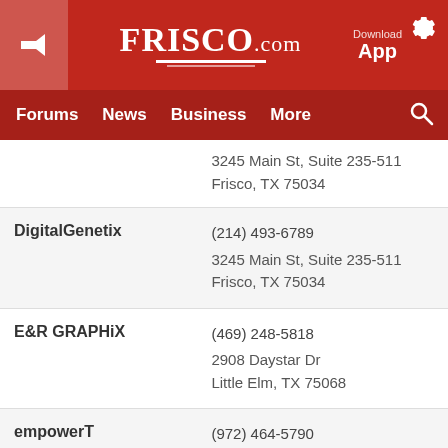Frisco.com — Download App
Forums | News | Business | More
3245 Main St, Suite 235-511
Frisco, TX 75034
DigitalGenetix
(214) 493-6789
3245 Main St, Suite 235-511
Frisco, TX 75034
E&R GRAPHiX
(469) 248-5818
2908 Daystar Dr
Little Elm, TX 75068
empowerT
(972) 464-5790
1518 Legacy Dr, Suite 100